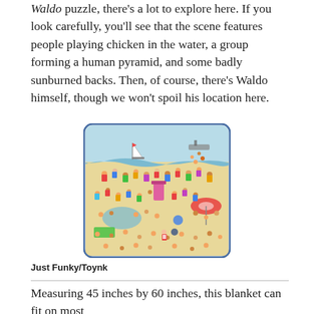Waldo puzzle, there's a lot to explore here. If you look carefully, you'll see that the scene features people playing chicken in the water, a group forming a human pyramid, and some badly sunburned backs. Then, of course, there's Waldo himself, though we won't spoil his location here.
[Figure (illustration): A crowded beach scene from Where's Waldo, showing hundreds of people on the beach and in the water. Features include a sailboat, people playing in the water, a human pyramid, sunbathers, an umbrella stand, and many other activities. The image is rectangular with rounded corners and a blue border.]
Just Funky/Toynk
Measuring 45 inches by 60 inches, this blanket can fit on most